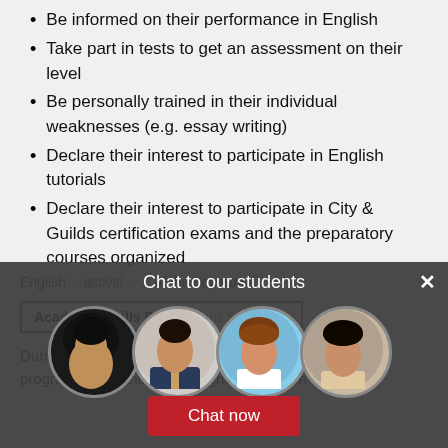Be informed on their performance in English
Take part in tests to get an assessment on their level
Be personally trained in their individual weaknesses (e.g. essay writing)
Declare their interest to participate in English tutorials
Declare their interest to participate in City & Guilds certification exams and the preparatory courses organized
[Figure (screenshot): Chat popup overlay with title 'Chat to our students', four circular avatar photos of students, a close (X) button, and a red 'Chat now' button]
Academic Skills De[partment] [Semi]nars
During our long history in providing university programmes of the British higher education we have